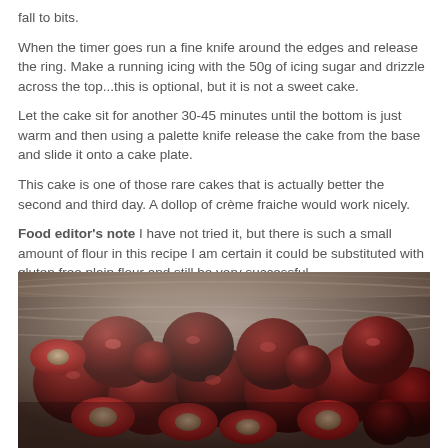fall to bits.
When the timer goes run a fine knife around the edges and release the ring. Make a running icing with the 50g of icing sugar and drizzle across the top...this is optional, but it is not a sweet cake.
Let the cake sit for another 30-45 minutes until the bottom is just warm and then using a palette knife release the cake from the base and slide it onto a cake plate.
This cake is one of those rare cakes that is actually better the second and third day. A dollop of crème fraiche would work nicely.
Food editor's note I have not tried it, but there is such a small amount of flour in this recipe I am certain it could be substituted with gluten free plain flour and still be very successful.
[Figure (photo): Close-up photo of dark red cherries, some halved showing the stone and flesh, piled in a bowl or dish with a metallic sheen background.]